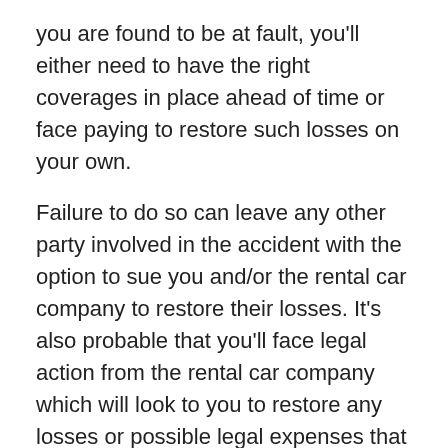you are found to be at fault, you'll either need to have the right coverages in place ahead of time or face paying to restore such losses on your own.
Failure to do so can leave any other party involved in the accident with the option to sue you and/or the rental car company to restore their losses. It's also probable that you'll face legal action from the rental car company which will look to you to restore any losses or possible legal expenses that are brought about because of your accident.
On average, Texans can expect to pay more than $15,000 per accident for bodily injuries. Physical damage is often an average higher than $3,000 per accident, which may rise higher due to economic factors that can affect the cost of parts and labor, such as inflation. These expenses can be a lot to bear.